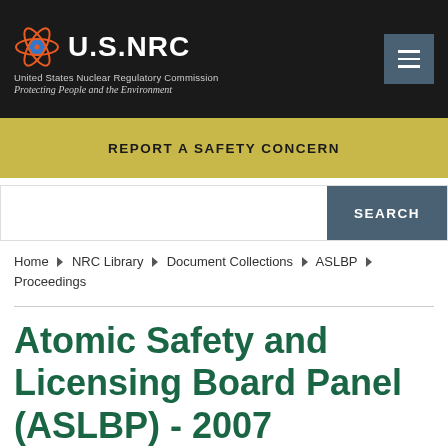U.S.NRC United States Nuclear Regulatory Commission Protecting People and the Environment
REPORT A SAFETY CONCERN
SEARCH
Home ▶ NRC Library ▶ Document Collections ▶ ASLBP ▶ Proceedings
Atomic Safety and Licensing Board Panel (ASLBP) - 2007 Proceedings